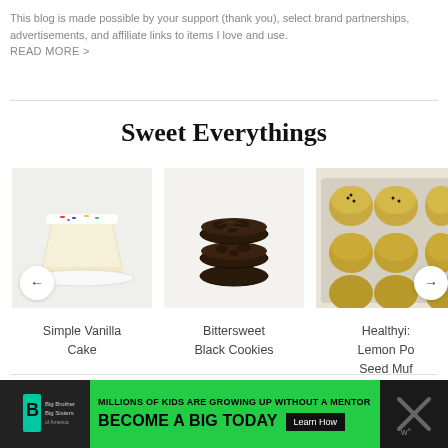This blog is made possible by your support (thank you), select brand partnerships, advertisements, and affiliate links to items I love and use. READ MORE >
Sweet Everythings
[Figure (photo): A slice of white frosted vanilla cake with sprinkles on a white plate. Navigation arrow pointing left overlaid at bottom.]
Simple Vanilla Cake
[Figure (photo): A stack of bittersweet black/chocolate crinkle cookies on a white background.]
Bittersweet Black Cookies
[Figure (photo): Healthy lemon poppy seed muffins in a tray, viewed from above. Navigation arrow pointing right overlaid at bottom.]
Healthyi: Lemon Po Seed Muf
ADVERTISEMENT
[Figure (infographic): Big Brothers Big Sisters advertisement banner. Green background with text: MILLIONS OF KIDS ARE GROWING UP WITHOUT A MENTOR. BECOME A BIG TODAY. Learn How button. Logo on left, X icon on right.]